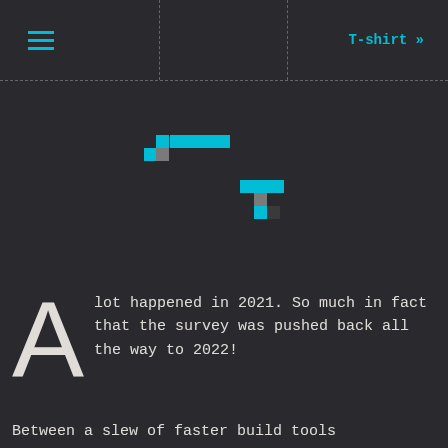T-shirt »
[Figure (logo): Two stylized angular bracket/arrow logo marks made of cyan and gray pixel-art shapes, arranged diagonally on a dark background]
A lot happened in 2021. So much in fact that the survey was pushed back all the way to 2022!
Between a slew of faster build tools